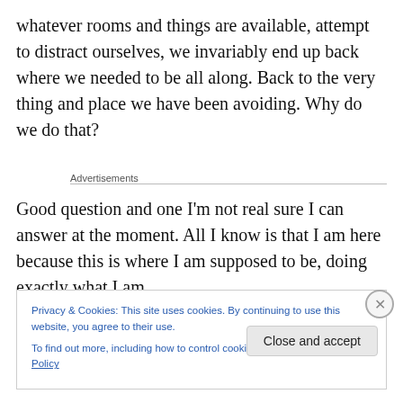whatever rooms and things are available, attempt to distract ourselves, we invariably end up back where we needed to be all along. Back to the very thing and place we have been avoiding. Why do we do that?
Advertisements
Good question and one I’m not real sure I can answer at the moment. All I know is that I am here because this is where I am supposed to be, doing exactly what I am
Privacy & Cookies: This site uses cookies. By continuing to use this website, you agree to their use.
To find out more, including how to control cookies, see here: Cookie Policy
Close and accept